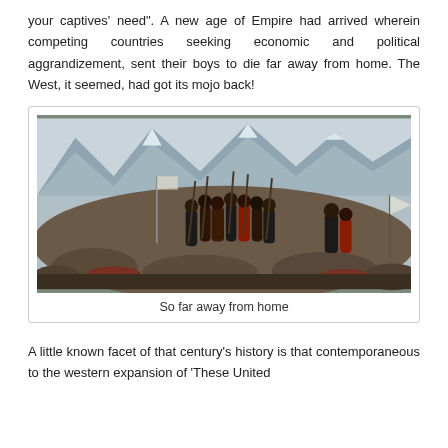your captives' need". A new age of Empire had arrived wherein competing countries seeking economic and political aggrandizement, sent their boys to die far away from home. The West, it seemed, had got its mojo back!
[Figure (illustration): A dramatic 19th-century painting depicting a battle scene in a mountainous landscape. Soldiers dressed in dark coats and fur hats carry rifles and spears amid a rocky terrain. Mountains with glaciers are visible in the background. Many fallen soldiers and bodies are visible on the ground.]
So far away from home
A little known facet of that century's history is that contemporaneous to the western expansion of 'These United